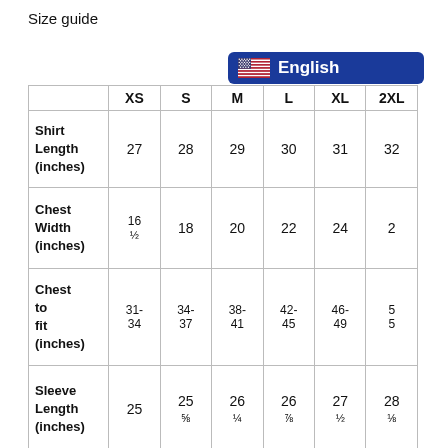Size guide
|  | XS | S | M | L | XL | 2XL |
| --- | --- | --- | --- | --- | --- | --- |
| Shirt Length (inches) | 27 | 28 | 29 | 30 | 31 | 32 |
| Chest Width (inches) | 16 ½ | 18 | 20 | 22 | 24 | 2… |
| Chest to fit (inches) | 31-34 | 34-37 | 38-41 | 42-45 | 46-49 | 5…5… |
| Sleeve Length (inches) | 25 | 25 ⅝ | 26 ¼ | 26 ⅞ | 27 ½ | 28 ⅛ |